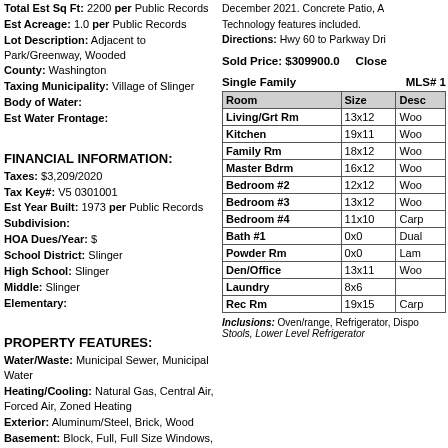Total Est Sq Ft: 2200 per Public Records
Est Acreage: 1.0 per Public Records
Lot Description: Adjacent to Park/Greenway, Wooded
County: Washington
Taxing Municipality: Village of Slinger
Body of Water:
Est Water Frontage:
FINANCIAL INFORMATION:
Taxes: $3,209/2020
Tax Key#: V5 0301001
Est Year Built: 1973 per Public Records
Subdivision:
HOA Dues/Year: $
School District: Slinger
High School: Slinger
Middle: Slinger
Elementary:
PROPERTY FEATURES:
Water/Waste: Municipal Sewer, Municipal Water
Heating/Cooling: Natural Gas, Central Air, Forced Air, Zoned Heating
Exterior: Aluminum/Steel, Brick, Wood
Basement: Block, Full, Full Size Windows, Partial Finished, Stubbed for Bathroom, Sump Pump
Flood Plain: No
Broker Owned: N  Relo: N
December 2021. Concrete Patio, A Technology features included.
Directions: Hwy 60 to Parkway Dri
Sold Price: $309900.0   Close
Single Family   MLS# 1
| Room | Size | Desc |
| --- | --- | --- |
| Living/Grt Rm | 13x12 | Woo |
| Kitchen | 19x11 | Woo |
| Family Rm | 18x12 | Woo |
| Master Bdrm | 16x12 | Woo |
| Bedroom #2 | 12x12 | Woo |
| Bedroom #3 | 13x12 | Woo |
| Bedroom #4 | 11x10 | Carp |
| Bath #1 | 0x0 | Dual |
| Powder Rm | 0x0 | Lam |
| Den/Office | 13x11 | Woo |
| Laundry | 8x6 |  |
| Rec Rm | 19x15 | Carp |
Inclusions: Oven/range, Refrigerator, Dispo
Stools, Lower Level Refrigerator